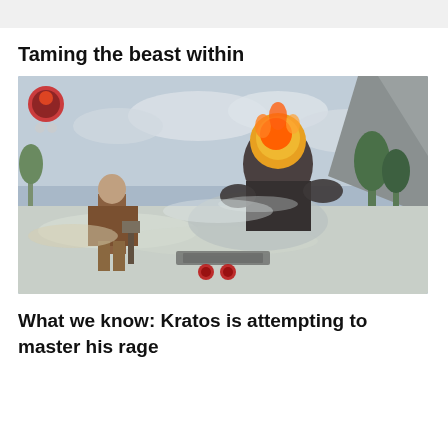Taming the beast within
[Figure (screenshot): God of War video game screenshot showing Kratos holding an axe facing a large fiery enemy creature on a frozen lake landscape with snow and trees in the background. Game HUD elements visible including a compass and action prompts at the bottom center.]
What we know: Kratos is attempting to master his rage